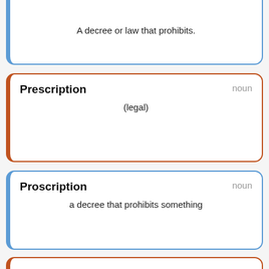A decree or law that prohibits.
Prescription — noun
(legal)
Proscription — noun
a decree that prohibits something
Prescription — noun
The act of prescribing a rule, law, etc..